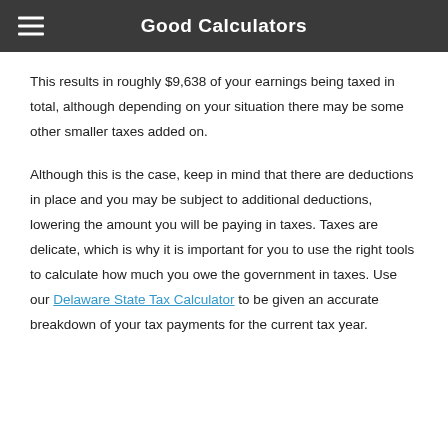Good Calculators
This results in roughly $9,638 of your earnings being taxed in total, although depending on your situation there may be some other smaller taxes added on.
Although this is the case, keep in mind that there are deductions in place and you may be subject to additional deductions, lowering the amount you will be paying in taxes. Taxes are delicate, which is why it is important for you to use the right tools to calculate how much you owe the government in taxes. Use our Delaware State Tax Calculator to be given an accurate breakdown of your tax payments for the current tax year.